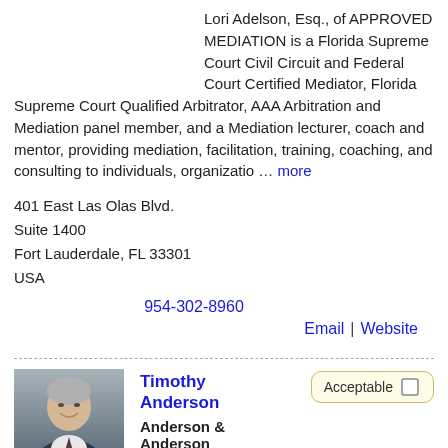Lori Adelson, Esq., of APPROVED MEDIATION is a Florida Supreme Court Civil Circuit and Federal Court Certified Mediator, Florida Supreme Court Qualified Arbitrator, AAA Arbitration and Mediation panel member, and a Mediation lecturer, coach and mentor, providing mediation, facilitation, training, coaching, and consulting to individuals, organizatio … more
401 East Las Olas Blvd.
Suite 1400
Fort Lauderdale, FL 33301
USA
954-302-8960
Email | Website
[Figure (photo): Headshot of Timothy Anderson, a man with gray hair wearing a suit, smiling]
Timothy Anderson
Anderson & Anderson
Acceptable